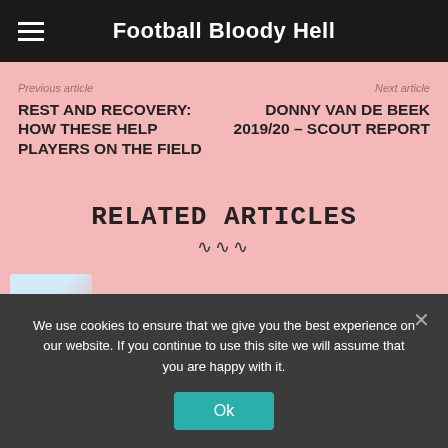Football Bloody Hell
Previous article
Next article
REST AND RECOVERY: HOW THESE HELP PLAYERS ON THE FIELD
DONNY VAN DE BEEK 2019/20 – SCOUT REPORT
RELATED ARTICLES
TODAY'S TALES: IT'S NOT BASEBALL, YOU...
We use cookies to ensure that we give you the best experience on our website. If you continue to use this site we will assume that you are happy with it.